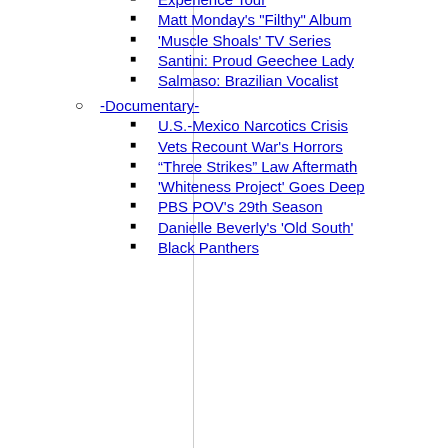Experience Tour
Matt Monday's "Filthy" Album
'Muscle Shoals' TV Series
Santini: Proud Geechee Lady
Salmaso: Brazilian Vocalist
-Documentary-
U.S.-Mexico Narcotics Crisis
Vets Recount War's Horrors
“Three Strikes” Law Aftermath
'Whiteness Project' Goes Deep
PBS POV's 29th Season
Danielle Beverly's 'Old South'
Black Panthers